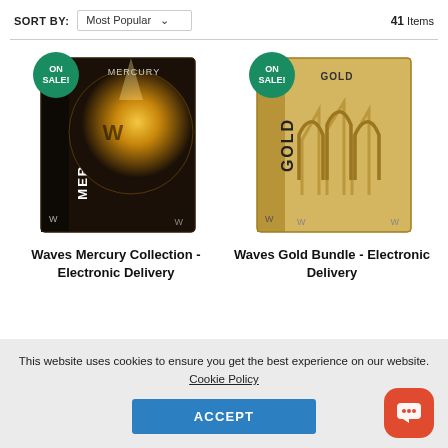SORT BY: Most Popular — 41 Items
[Figure (photo): Waves Mercury Collection plugin bundle box — dark space theme with glowing planet, vertical text MERCURY on spine]
Waves Mercury Collection - Electronic Delivery
[Figure (photo): Waves Gold Bundle plugin box — gold/tan colored box with waveform logo graphic, text GOLD on spine]
Waves Gold Bundle - Electronic Delivery
This website uses cookies to ensure you get the best experience on our website. Cookie Policy
ACCEPT